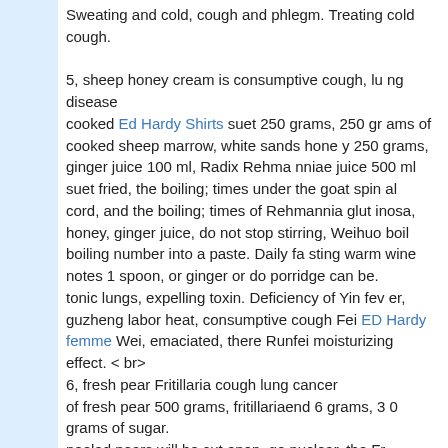Sweating and cold, cough and phlegm. Treating cold cough.

5, sheep honey cream is consumptive cough, lung disease
cooked Ed Hardy Shirts suet 250 grams, 250 grams of cooked sheep marrow, white sands honey 250 grams, ginger juice 100 ml, Radix Rehmanniae juice 500 ml
suet fried, the boiling; times under the goat spinal cord, and the boiling; times of Rehmannia glutinosa, honey, ginger juice, do not stop stirring, Weihuo boil boiling number into a paste. Daily fasting warm wine notes 1 spoon, or ginger or do porridge can be.
tonic lungs, expelling toxin. Deficiency of Yin fever, guzheng labor heat, consumptive cough Fei ED Hardy femme Wei, emaciated, there Runfei moisturizing effect. < br>
6, fresh pear Fritillaria cough lung cancer
of fresh pear 500 grams, fritillariaend 6 grams, 30 grams of sugar.
peeled pears will be cut open, go nuclear, the Fritillaria powder and sugar filled in, together steamed in True Religion Jeans a bowl. Sooner or later the food.
clearing Christian Louboutin Evening heat and resolving phlegm, Sanjie solution. With a cough